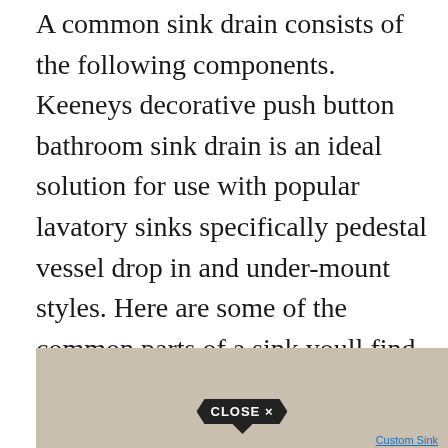A common sink drain consists of the following components. Keeneys decorative push button bathroom sink drain is an ideal solution for use with popular lavatory sinks specifically pedestal vessel drop in and under-mount styles. Here are some of the common parts of a sink youll find almost everywhere. Browse Our Variety Of Sink and Tub DrainsSave On Brands You Trust. Learn how to replace it h.
[Figure (photo): Partial image of a stone or concrete surface (beige/tan texture with dark speckles), partially covered by a 'CLOSE X' button overlay in a dark hexagonal/arrow shape, with blue underlined text 'Custom Sink' partially visible at the bottom right.]